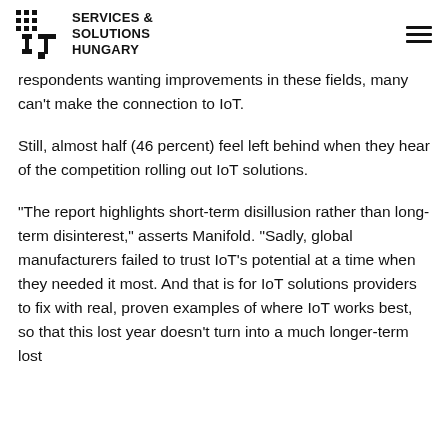IT Services & Solutions Hungary
respondents wanting improvements in these fields, many can't make the connection to IoT.
Still, almost half (46 percent) feel left behind when they hear of the competition rolling out IoT solutions.
“The report highlights short-term disillusion rather than long-term disinterest,” asserts Manifold. “Sadly, global manufacturers failed to trust IoT’s potential at a time when they needed it most. And that is for IoT solutions providers to fix with real, proven examples of where IoT works best, so that this lost year doesn’t turn into a much longer-term lost